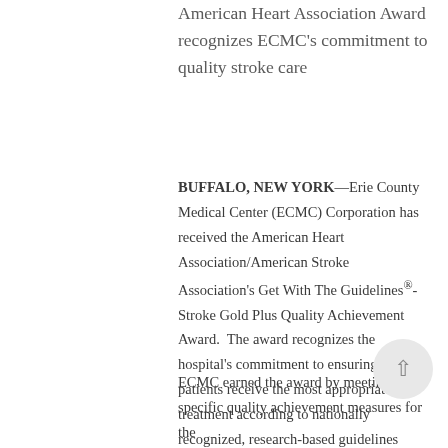American Heart Association Award recognizes ECMC's commitment to quality stroke care
BUFFALO, NEW YORK—Erie County Medical Center (ECMC) Corporation has received the American Heart Association/American Stroke Association's Get With The Guidelines®-Stroke Gold Plus Quality Achievement Award. The award recognizes the hospital's commitment to ensuring stroke patients receive the most appropriate treatment according to nationally recognized, research-based guidelines based on the latest scientific evidence.
ECMC earned the award by meeting specific quality achievement measures for the